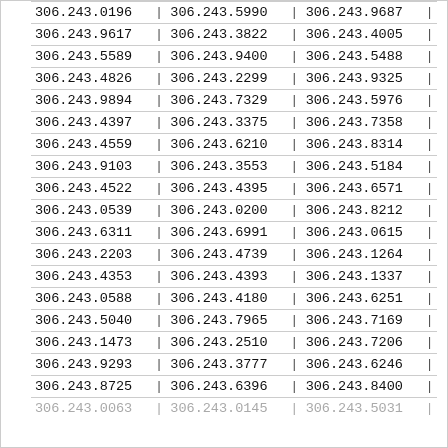| col1 | col2 | col3 |
| --- | --- | --- |
| 306.243.0196 | 306.243.5990 | 306.243.9687 |
| 306.243.9617 | 306.243.3822 | 306.243.4005 |
| 306.243.5589 | 306.243.9400 | 306.243.5488 |
| 306.243.4826 | 306.243.2299 | 306.243.9325 |
| 306.243.9894 | 306.243.7329 | 306.243.5976 |
| 306.243.4397 | 306.243.3375 | 306.243.7358 |
| 306.243.4559 | 306.243.6210 | 306.243.8314 |
| 306.243.9103 | 306.243.3553 | 306.243.5184 |
| 306.243.4522 | 306.243.4395 | 306.243.6571 |
| 306.243.0539 | 306.243.0200 | 306.243.8212 |
| 306.243.6311 | 306.243.6991 | 306.243.0615 |
| 306.243.2203 | 306.243.4739 | 306.243.1264 |
| 306.243.4353 | 306.243.4393 | 306.243.1337 |
| 306.243.0588 | 306.243.4180 | 306.243.6251 |
| 306.243.5040 | 306.243.7965 | 306.243.7169 |
| 306.243.1473 | 306.243.2510 | 306.243.7206 |
| 306.243.9293 | 306.243.3777 | 306.243.6246 |
| 306.243.8725 | 306.243.6396 | 306.243.8400 |
| 306.243.0063 | 306.243.0145 | 306.243.5031 |